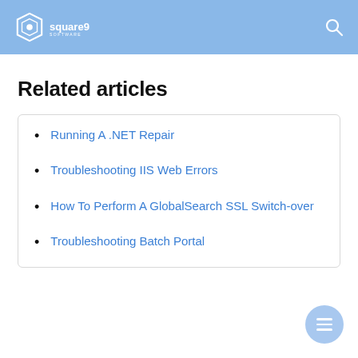square9 software
Related articles
Running A .NET Repair
Troubleshooting IIS Web Errors
How To Perform A GlobalSearch SSL Switch-over
Troubleshooting Batch Portal